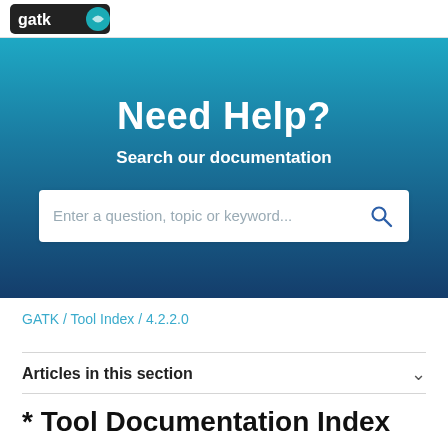[Figure (logo): GATK logo on white header bar]
Need Help?
Search our documentation
[Figure (screenshot): Search input bar with placeholder 'Enter a question, topic or keyword...' and a search icon]
GATK / Tool Index / 4.2.2.0
Articles in this section
* Tool Documentation Index